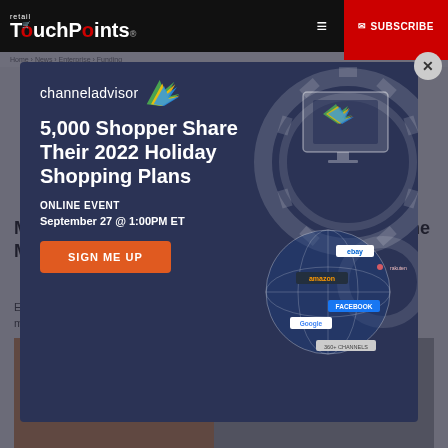retail TouchPoints — SUBSCRIBE
Miraki Rakes in $555M in New Funding as Online Marketplaces Boom
Enterprise marketplace SaaS platform Miraki, which powers the third-party marketplaces of some of the biggest retailers... Co., Urban...
[Figure (screenshot): ChannelAdvisor advertisement modal overlay showing '5,000 Shopper Share Their 2022 Holiday Shopping Plans' webinar registration. Online Event September 27 @ 1:00PM ET with SIGN ME UP button. Right side features globe with platform logos (eBay, Amazon, Facebook, Google, 360+ channels) and gear/monitor decorative graphics.]
[Figure (illustration): Bottom section showing marketplace icons including store, group, person, and device icons on an orange/blue gradient background.]